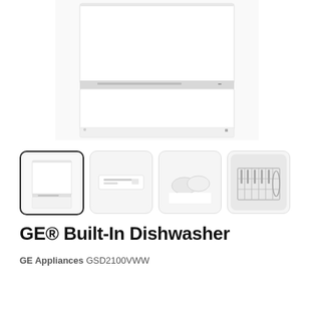[Figure (photo): Close-up front view of a white GE built-in dishwasher showing the door panels and control strip]
[Figure (photo): Four thumbnail images of the GE dishwasher: full front view (selected), control panel close-up, detergent dispenser close-up, and dish rack with utensils]
GE® Built-In Dishwasher
GE Appliances GSD2100VWW